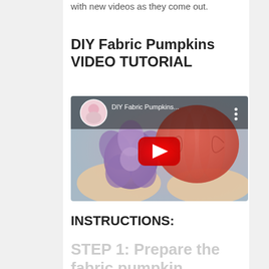with new videos as they come out.
DIY Fabric Pumpkins VIDEO TUTORIAL
[Figure (screenshot): YouTube video thumbnail for 'DIY Fabric Pumpkins...' showing hands holding a purple fabric flower and an orange/coral fabric pumpkin, with a red YouTube play button overlay and a circular profile photo of a woman in the top left corner]
INSTRUCTIONS:
STEP 1: Prepare the fabric pumpkin